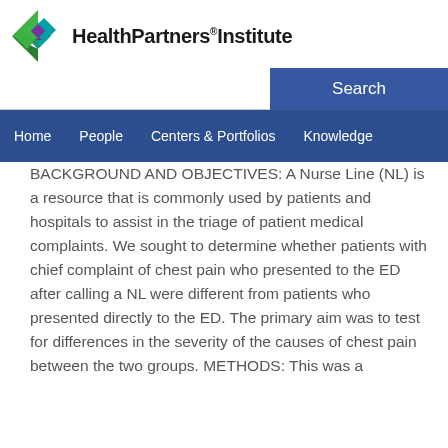HealthPartners Institute
BACKGROUND AND OBJECTIVES: A Nurse Line (NL) is a resource that is commonly used by patients and hospitals to assist in the triage of patient medical complaints. We sought to determine whether patients with chief complaint of chest pain who presented to the ED after calling a NL were different from patients who presented directly to the ED. The primary aim was to test for differences in the severity of the causes of chest pain between the two groups. METHODS: This was a